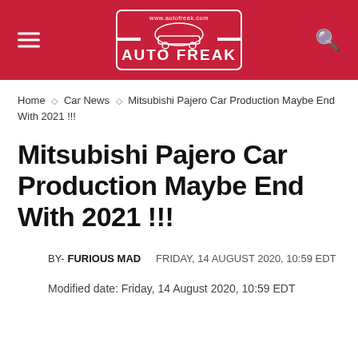AUTO FREAK — www.autofreak.com
Home ◇ Car News ◇ Mitsubishi Pajero Car Production Maybe End With 2021 !!!
Mitsubishi Pajero Car Production Maybe End With 2021 !!!
BY- FURIOUS MAD   FRIDAY, 14 AUGUST 2020, 10:59 EDT
Modified date: Friday, 14 August 2020, 10:59 EDT